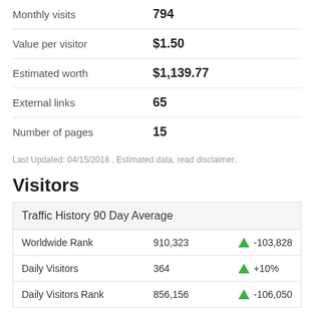Monthly visits   794
Value per visitor   $1.50
Estimated worth   $1,139.77
External links   65
Number of pages   15
Last Updated: 04/15/2018 . Estimated data, read disclaimer.
Visitors
| Traffic History 90 Day Average |  |  |
| --- | --- | --- |
| Worldwide Rank | 910,323 | ↑ -103,828 |
| Daily Visitors | 364 | ↑ +10% |
| Daily Visitors Rank | 856,156 | ↑ -106,050 |